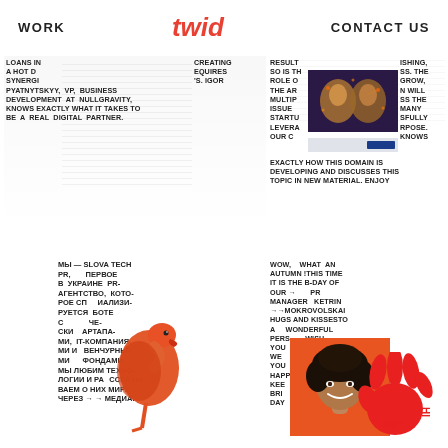WORK   twid   CONTACT US
[Figure (screenshot): Card with article text about loans and digital partner, partially obscured]
[Figure (screenshot): Card with article about AI/tech, featuring two AI-rendered faces with circuit overlays, and Cyrillic caption]
[Figure (screenshot): Card with Russian text about Slova Tech PR agency, overlaid with flamingo photo]
[Figure (screenshot): Card with birthday message for PR manager Ketrin Mokrovolska, overlaid with smiling woman photo]
[Figure (illustration): Red hand/splat illustration with SAY HI text]